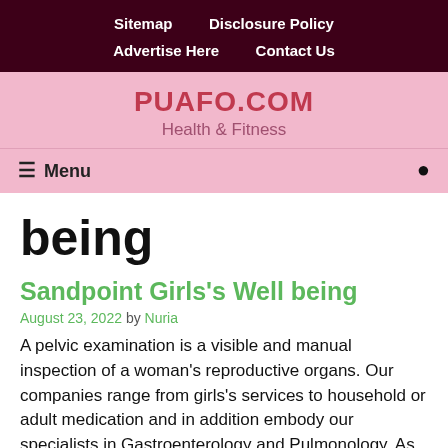Sitemap   Disclosure Policy   Advertise Here   Contact Us
PUAFO.COM
Health & Fitness
≡ Menu
being
Sandpoint Girls's Well being
August 23, 2022 by Nuria
A pelvic examination is a visible and manual inspection of a woman's reproductive organs. Our companies range from girls's services to household or adult medication and in addition embody our specialists in Gastroenterology and Pulmonology. As a result of